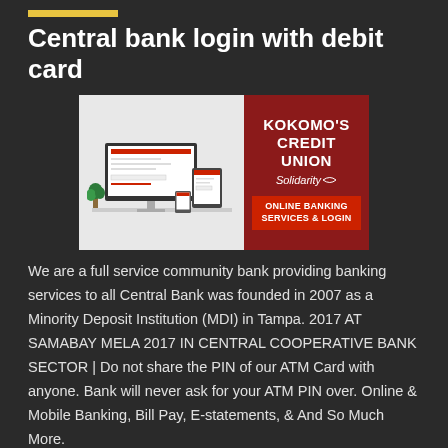Central bank login with debit card
[Figure (illustration): Advertisement image for Kokomo's Credit Union - Solidarity showing computer monitor and tablet on a desk on the left side with gray background, and red panel on right with text 'KOKOMO'S CREDIT UNION Solidarity' and a red button 'ONLINE BANKING SERVICES & LOGIN']
We are a full service community bank providing banking services to all Central Bank was founded in 2007 as a Minority Deposit Institution (MDI) in Tampa. 2017 AT SAMABAY MELA 2017 IN CENTRAL COOPERATIVE BANK SECTOR | Do not share the PIN of our ATM Card with anyone. Bank will never ask for your ATM PIN over. Online & Mobile Banking, Bill Pay, E-statements, & And So Much More.
Read More